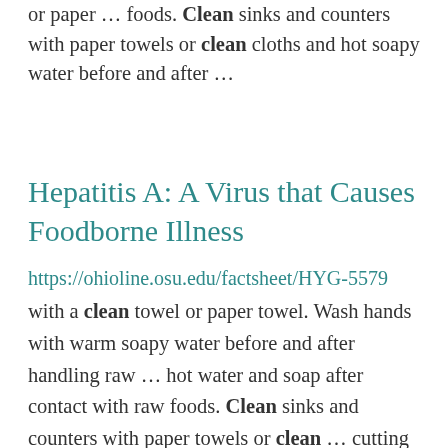or paper … foods. Clean sinks and counters with paper towels or clean cloths and hot soapy water before and after …
Hepatitis A: A Virus that Causes Foodborne Illness
https://ohioline.osu.edu/factsheet/HYG-5579
with a clean towel or paper towel. Wash hands with warm soapy water before and after handling raw … hot water and soap after contact with raw foods. Clean sinks and counters with paper towels or clean … cutting board is not made of wood, you can put it into the dishwasher. Sanitize all food preparation